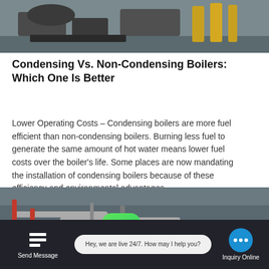[Figure (photo): Industrial boiler machinery, metallic equipment viewed from below/side, outdoor industrial setting]
Condensing Vs. Non-Condensing Boilers: Which One Is Better
Lower Operating Costs – Condensing boilers are more fuel efficient than non-condensing boilers. Burning less fuel to generate the same amount of hot water means lower fuel costs over the boiler's life. Some places are now mandating the installation of condensing boilers because of these efficiency and environmental advantages.
[Figure (photo): Industrial boiler room interior with pipes and equipment]
Hey, we are live 24/7. How may I help you?